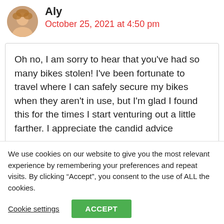Aly
October 25, 2021 at 4:50 pm
Oh no, I am sorry to hear that you’ve had so many bikes stolen! I’ve been fortunate to travel where I can safely secure my bikes when they aren’t in use, but I’m glad I found this for the times I start venturing out a little farther. I appreciate the candid advice
We use cookies on our website to give you the most relevant experience by remembering your preferences and repeat visits. By clicking “Accept”, you consent to the use of ALL the cookies.
Cookie settings
ACCEPT